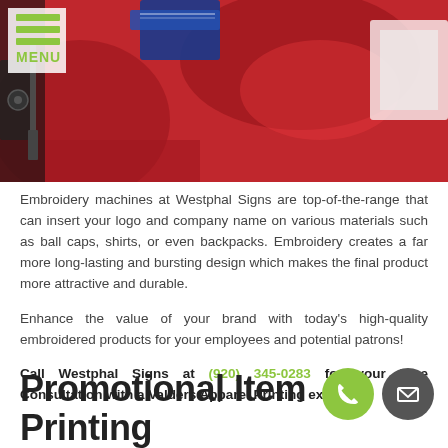[Figure (photo): Close-up photo of red embroidered garments/apparel on an embroidery machine, with blue and white decorative elements visible]
Embroidery machines at Westphal Signs are top-of-the-range that can insert your logo and company name on various materials such as ball caps, shirts, or even backpacks. Embroidery creates a far more long-lasting and bursting design which makes the final product more attractive and durable.
Enhance the value of your brand with today's high-quality embroidered products for your employees and potential patrons!
Call Westphal Signs at (920) 345-0283 for your Free Consultation with a Valders Apparel Printing expert!
Promotional Item Printing